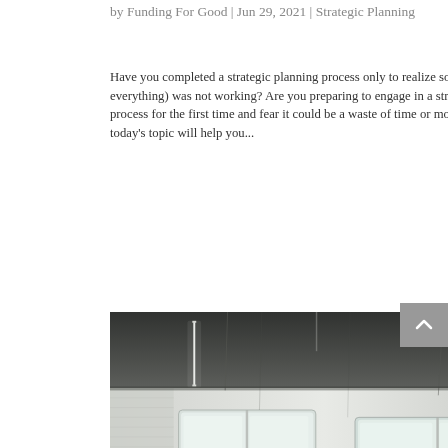by Funding For Good | Jun 29, 2021 | Strategic Planning
Have you completed a strategic planning process only to realize something (or everything) was not working? Are you preparing to engage in a strategic planning process for the first time and fear it could be a waste of time or money? If so, today's topic will help you...
[Figure (photo): Interior photo of a room with a dark ceiling, fluorescent tube lighting, brick walls, and large windows reflecting light]